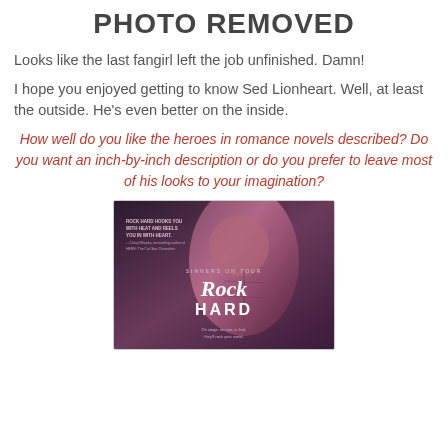PHOTO REMOVED
Looks like the last fangirl left the job unfinished. Damn!
I hope you enjoyed getting to know Sed Lionheart. Well, at least the outside. He’s even better on the inside.
How well do you like the heroes in romance novels described? Do you want an inch-by-inch description or do you prefer to leave most of his looks to your imagination?
[Figure (photo): Book cover for 'Rock Hard' by Sinners on Tour series, showing a muscular male torso with dark purple/pink tones. Text reads: 'ROCK HARD HOOKS YOU WITH HEAT AND REELS YOU IN WITH HEART.' - Cheryl Brooks, bestselling author of HERE: The Cat Star Chronicles. SINNERS ON TOUR. Rock HARD. On stage, on tour, in bed, they'll rock your world.]